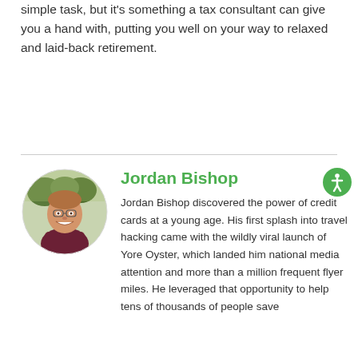simple task, but it's something a tax consultant can give you a hand with, putting you well on your way to relaxed and laid-back retirement.
[Figure (photo): Circular portrait photo of Jordan Bishop, a young man smiling, wearing a dark red/maroon shirt, outdoors with trees in background.]
Jordan Bishop
Jordan Bishop discovered the power of credit cards at a young age. His first splash into travel hacking came with the wildly viral launch of Yore Oyster, which landed him national media attention and more than a million frequent flyer miles. He leveraged that opportunity to help tens of thousands of people save